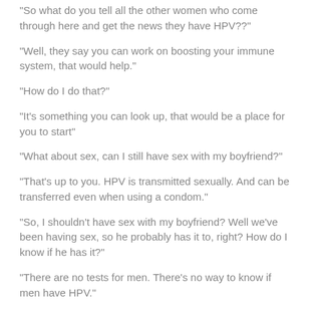“So what do you tell all the other women who come through here and get the news they have HPV??”
“Well, they say you can work on boosting your immune system, that would help.”
“How do I do that?”
“It’s something you can look up, that would be a place for you to start”
“What about sex, can I still have sex with my boyfriend?”
“That’s up to you. HPV is transmitted sexually. And can be transferred even when using a condom.”
“So, I shouldn’t have sex with my boyfriend? Well we’ve been having sex, so he probably has it to, right? How do I know if he has it?”
“There are no tests for men. There’s no way to know if men have HPV.”